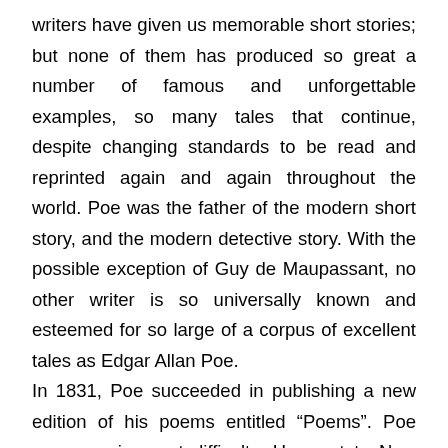writers have given us memorable short stories; but none of them has produced so great a number of famous and unforgettable examples, so many tales that continue, despite changing standards to be read and reprinted again and again throughout the world. Poe was the father of the modern short story, and the modern detective story. With the possible exception of Guy de Maupassant, no other writer is so universally known and esteemed for so large of a corpus of excellent tales as Edgar Allan Poe. In 1831, Poe succeeded in publishing a new edition of his poems entitled “Poems”. Poe was now in great difficulty. He went to New York, but could find no job there. Eventually he took refuge with his aunt, Mrs. Clemm, in Baltimore. There he decided to seek employment and make his living by writing. Failing to get attention with his poems, he decided to start writing short stories. Poe